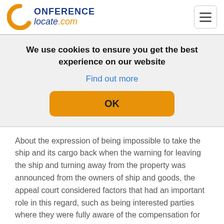ConferenceLocate.com
We use cookies to ensure you get the best experience on our website
Find out more
OK
About the expression of being impossible to take the ship and its cargo back when the warning for leaving the ship and turning away from the property was announced from the owners of ship and goods, the appeal court considered factors that had an important role in this regard, such as being interested parties where they were fully aware of the compensation for their loss. Moreover, there were